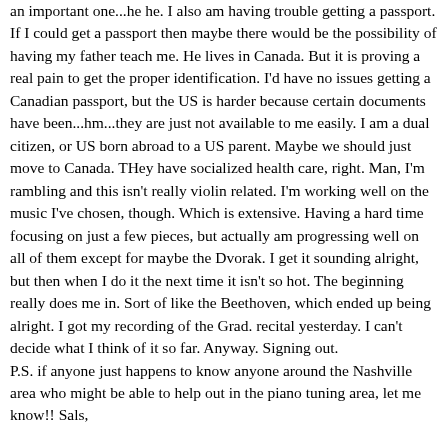an important one...he he. I also am having trouble getting a passport. If I could get a passport then maybe there would be the possibility of having my father teach me. He lives in Canada. But it is proving a real pain to get the proper identification. I'd have no issues getting a Canadian passport, but the US is harder because certain documents have been...hm...they are just not available to me easily. I am a dual citizen, or US born abroad to a US parent. Maybe we should just move to Canada. THey have socialized health care, right. Man, I'm rambling and this isn't really violin related. I'm working well on the music I've chosen, though. Which is extensive. Having a hard time focusing on just a few pieces, but actually am progressing well on all of them except for maybe the Dvorak. I get it sounding alright, but then when I do it the next time it isn't so hot. The beginning really does me in. Sort of like the Beethoven, which ended up being alright. I got my recording of the Grad. recital yesterday. I can't decide what I think of it so far. Anyway. Signing out.
P.S. if anyone just happens to know anyone around the Nashville area who might be able to help out in the piano tuning area, let me know!! Sals,